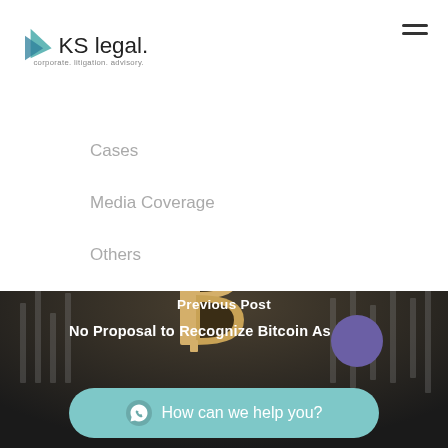KS legal. corporate. litigation. advisory.
Cases
Media Coverage
Others
[Figure (photo): Dark background image showing a large Bitcoin symbol (letter B with two vertical lines) in metallic/gold color, with blurred candlestick chart in background]
Previous Post
No Proposal to Recognize Bitcoin As a Curr
How can we help you?